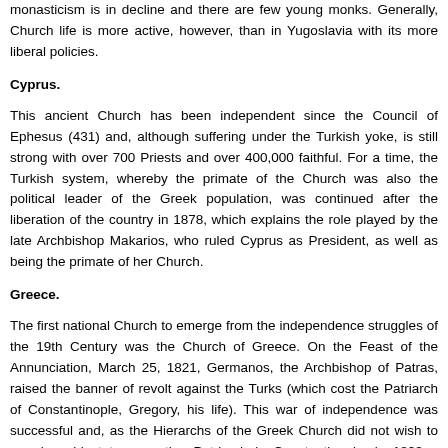monasticism is in decline and there are few young monks. Generally, Church life is more active, however, than in Yugoslavia with its more liberal policies.
Cyprus.
This ancient Church has been independent since the Council of Ephesus (431) and, although suffering under the Turkish yoke, is still strong with over 700 Priests and over 400,000 faithful. For a time, the Turkish system, whereby the primate of the Church was also the political leader of the Greek population, was continued after the liberation of the country in 1878, which explains the role played by the late Archbishop Makarios, who ruled Cyprus as President, as well as being the primate of her Church.
Greece.
The first national Church to emerge from the independence struggles of the 19th Century was the Church of Greece. On the Feast of the Annunciation, March 25, 1821, Germanos, the Archbishop of Patras, raised the banner of revolt against the Turks (which cost the Patriarch of Constantinople, Gregory, his life). This war of independence was successful and, as the Hierarchs of the Greek Church did not wish to remain subject to a captive Patriarch in Constantinople, in 1833 a synod of Greek Bishops declared their Church autocephalous, although this was not officially recognized by